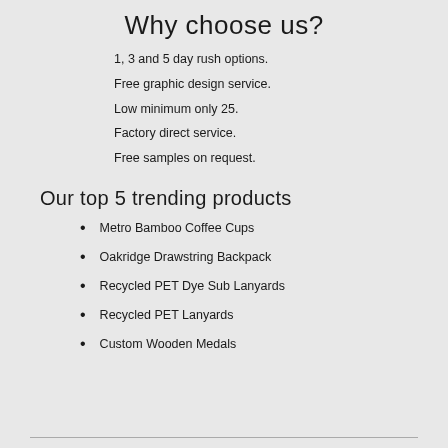Why choose us?
1, 3 and 5 day rush options.
Free graphic design service.
Low minimum only 25.
Factory direct service.
Free samples on request.
Our top 5 trending products
Metro Bamboo Coffee Cups
Oakridge Drawstring Backpack
Recycled PET Dye Sub Lanyards
Recycled PET Lanyards
Custom Wooden Medals